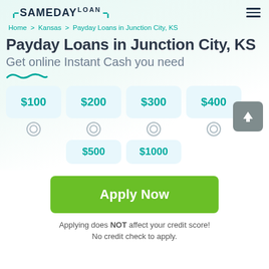[Figure (logo): SameDayLoan logo with teal bracket marks]
Home > Kansas > Payday Loans in Junction City, KS
Payday Loans in Junction City, KS
Get online Instant Cash you need
[Figure (illustration): Decorative squiggle/underline illustration in teal]
[Figure (infographic): Loan amount selection boxes: $100, $200, $300, $400, $500, $1000 with radio buttons]
[Figure (other): Gray upload/scroll-to-top button with upward arrow]
Apply Now
Applying does NOT affect your credit score! No credit check to apply.